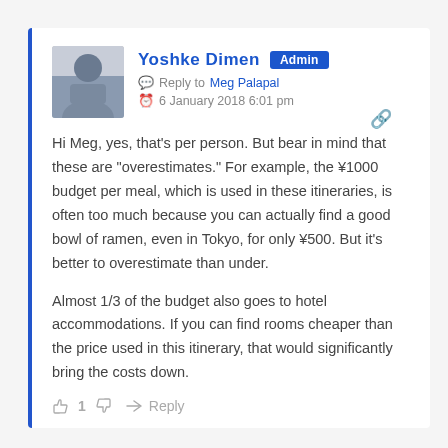Yoshke Dimen Admin
Reply to Meg Palapal
6 January 2018 6:01 pm
Hi Meg, yes, that's per person. But bear in mind that these are "overestimates." For example, the ¥1000 budget per meal, which is used in these itineraries, is often too much because you can actually find a good bowl of ramen, even in Tokyo, for only ¥500. But it's better to overestimate than under.
Almost 1/3 of the budget also goes to hotel accommodations. If you can find rooms cheaper than the price used in this itinerary, that would significantly bring the costs down.
1  Reply